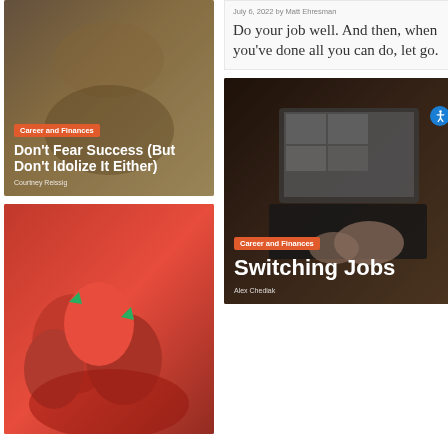[Figure (photo): Article card with hourglass/hands image, category badge 'Career and Finances', title 'Don’t Fear Success (But Don’t Idolize It Either)', author 'Courtney Reissig']
[Figure (photo): Article card with strawberries image (partially visible)]
July 6, 2022 by Matt Ehresman
Do your job well. And then, when you’ve done all you can do, let go.
[Figure (photo): Article card with laptop/person image, category badge 'Career and Finances', title 'Switching Jobs', author 'Alex Chediak']